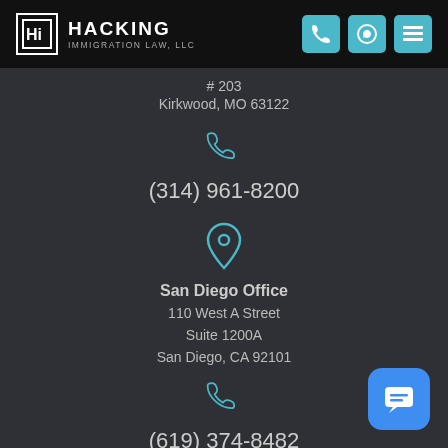[Figure (logo): Hacking Immigration Law, LLC logo with stylized H-i letters in a box, white text on black header background]
# 203
Kirkwood, MO 63122
[Figure (illustration): Teal phone icon]
(314) 961-8200
[Figure (illustration): Teal map pin / location icon]
San Diego Office
110 West A Street
Suite 1200A
San Diego, CA 92101
[Figure (illustration): Teal phone icon]
(619) 374-8482